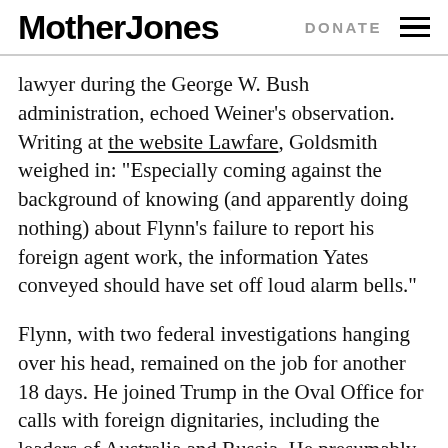Mother Jones | DONATE
lawyer during the George W. Bush administration, echoed Weiner’s observation. Writing at the website Lawfare, Goldsmith weighed in: “Especially coming against the background of knowing (and apparently doing nothing) about Flynn’s failure to report his foreign agent work, the information Yates conveyed should have set off loud alarm bells.”
Flynn, with two federal investigations hanging over his head, remained on the job for another 18 days. He joined Trump in the Oval Office for calls with foreign dignitaries, including the leaders of Australia and Russia. He presumably sat in on daily intelligence briefings and had unfettered access to